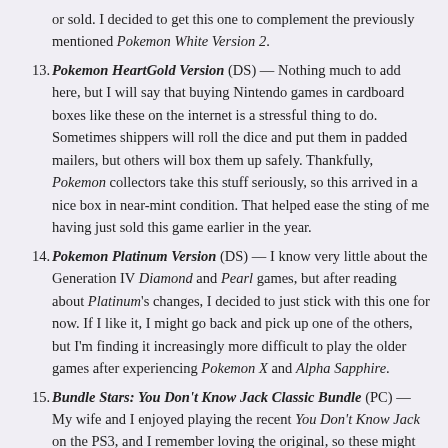or sold. I decided to get this one to complement the previously mentioned Pokemon White Version 2.
13. Pokemon HeartGold Version (DS) — Nothing much to add here, but I will say that buying Nintendo games in cardboard boxes like these on the internet is a stressful thing to do. Sometimes shippers will roll the dice and put them in padded mailers, but others will box them up safely. Thankfully, Pokemon collectors take this stuff seriously, so this arrived in a nice box in near-mint condition. That helped ease the sting of me having just sold this game earlier in the year.
14. Pokemon Platinum Version (DS) — I know very little about the Generation IV Diamond and Pearl games, but after reading about Platinum's changes, I decided to just stick with this one for now. If I like it, I might go back and pick up one of the others, but I'm finding it increasingly more difficult to play the older games after experiencing Pokemon X and Alpha Sapphire.
15. Bundle Stars: You Don't Know Jack Classic Bundle (PC) — My wife and I enjoyed playing the recent You Don't Know Jack on the PS3, and I remember loving the original, so these might be fun to go back to, since they're sure to be hilarious time capsules of pop culture from their respective release years. This bundle includes 9 games total, including